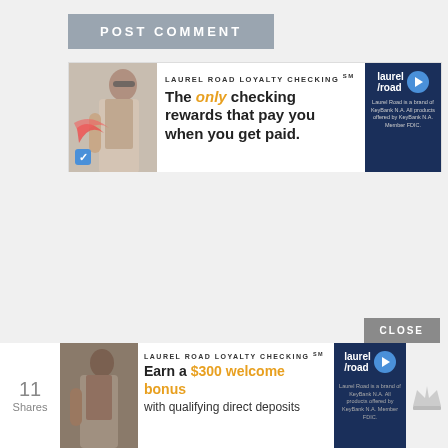POST COMMENT
[Figure (screenshot): Laurel Road Loyalty Checking advertisement banner. Shows a woman with sunglasses, a blue checkbox icon, text reading 'LAUREL ROAD LOYALTY CHECKING SM - The only checking rewards that pay you when you get paid.' and Laurel Road logo on dark blue background with disclaimer text.]
[Figure (screenshot): CLOSE button (gray background, white uppercase text)]
[Figure (screenshot): Bottom sticky ad bar: 11 Shares on left, Laurel Road Loyalty Checking ad in center reading 'Earn a $300 welcome bonus with qualifying direct deposits', Laurel Road logo, crown icon on right.]